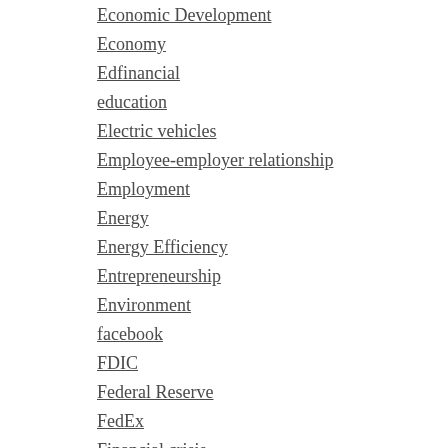Economic Development
Economy
Edfinancial
education
Electric vehicles
Employee-employer relationship
Employment
Energy
Energy Efficiency
Entrepreneurship
Environment
facebook
FDIC
Federal Reserve
FedEx
Financial crisis
Financial regulations
Financing
First Amendment Center